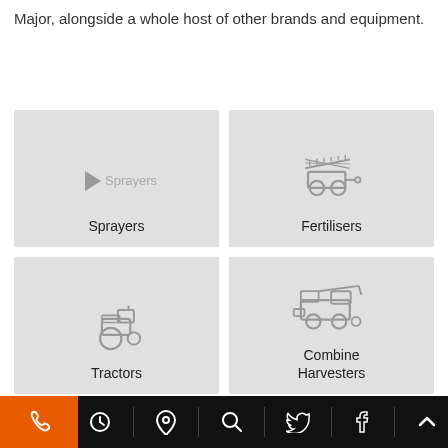Major, alongside a whole host of other brands and equipment.
[Figure (illustration): Grid of farm equipment category tiles: Sprayers, Fertilisers, Tractors, Combine Harvesters, and two partially visible tiles at bottom]
Bottom navigation bar with phone, clock, location, search, Twitter, Facebook, and up-arrow icons